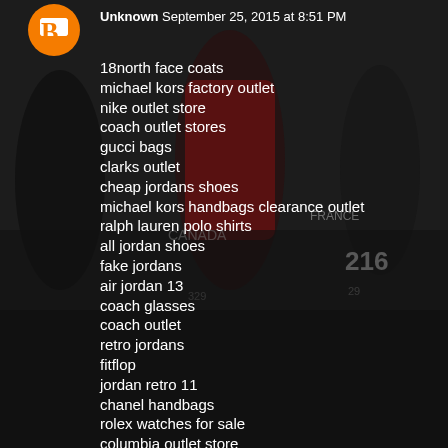Unknown September 25, 2015 at 8:51 PM
18north face coats
michael kors factory outlet
nike outlet store
coach outlet stores
gucci bags
clarks outlet
cheap jordans shoes
michael kors handbags clearance outlet
ralph lauren polo shirts
all jordan shoes
fake jordans
air jordan 13
coach glasses
coach outlet
retro jordans
fitflop
jordan retro 11
chanel handbags
rolex watches for sale
columbia outlet store
vans shoes